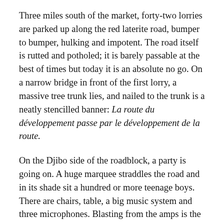Three miles south of the market, forty-two lorries are parked up along the red laterite road, bumper to bumper, hulking and impotent. The road itself is rutted and potholed; it is barely passable at the best of times but today it is an absolute no go. On a narrow bridge in front of the first lorry, a massive tree trunk lies, and nailed to the trunk is a neatly stencilled banner: La route du développement passe par le développement de la route.
On the Djibo side of the roadblock, a party is going on. A huge marquee straddles the road and in its shade sit a hundred or more teenage boys. There are chairs, table, a big music system and three microphones. Blasting from the amps is the song Dar es Salaam by Burkinabè rap duo Yeleen. The boy closest to the music system leans back on a metal chair and nods his head to the beat. Now and then he takes the cigarette out of his mouth so that he can